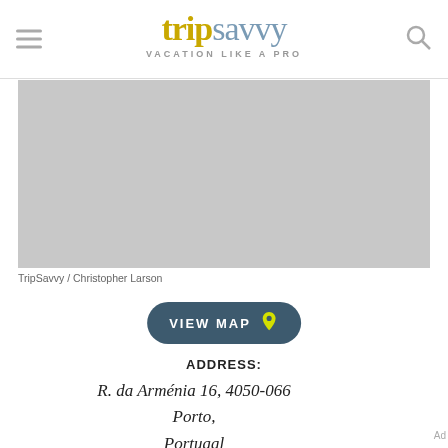tripsavvy VACATION LIKE A PRO
[Figure (photo): Gray placeholder image occupying main content area]
TripSavvy / Christopher Larson
VIEW MAP
ADDRESS: R. da Arménia 16, 4050-066 Porto, Portuaal